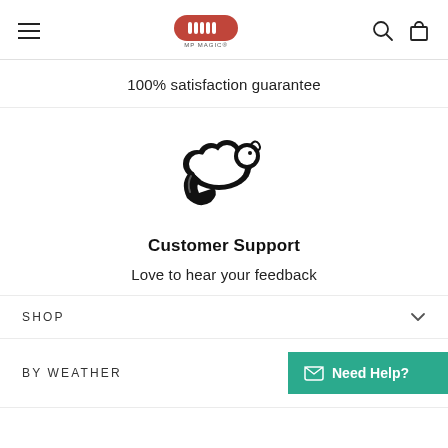[Figure (logo): MP Magic brand logo — red rounded pill shape with 'mp' text and 'MP MAGIC' below, hamburger menu icon on left, search and cart icons on right]
100% satisfaction guarantee
[Figure (illustration): Customer support icon: a sheep/cloud shape with a phone handset, forming a customer support logo]
Customer Support
Love to hear your feedback
SHOP
BY WEATHER
[Figure (other): Need Help? button in teal/green with envelope icon]